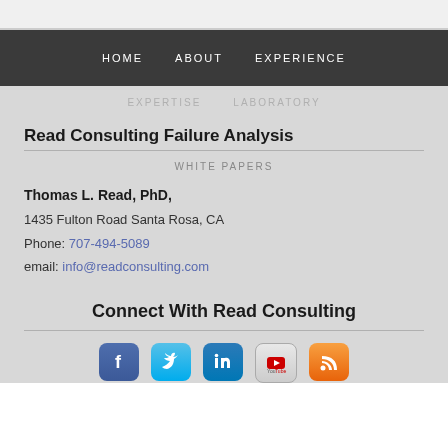HOME    ABOUT    EXPERIENCE
EXPERTISE    LABORATORY
Read Consulting Failure Analysis
WHITE PAPERS
Thomas L. Read, PhD,
1435 Fulton Road Santa Rosa, CA
Phone: 707-494-5089
email: info@readconsulting.com
Connect With Read Consulting
[Figure (infographic): Social media icons: Facebook, Twitter, LinkedIn, YouTube, RSS]